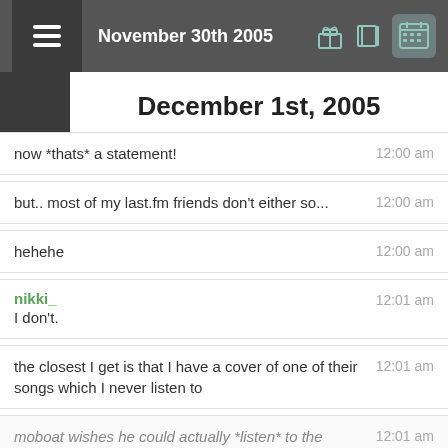November 30th 2005
December 1st, 2005
now *thats* a statement!	12:00 am
but.. most of my last.fm friends don't either so...	12:00 am
hehehe	12:00 am
nikki_
I don't.	12:01 am
the closest I get is that I have a cover of one of their songs which I never listen to	12:01 am
moboat wishes he could actually *listen* to the last.fm radio	12:01 am